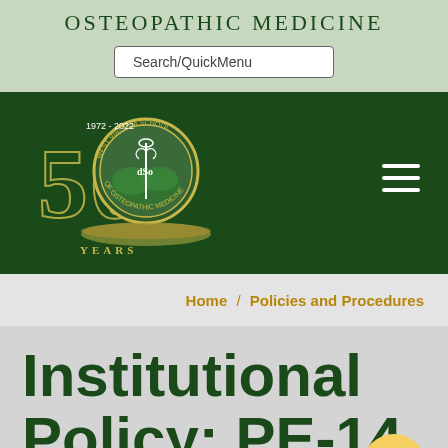OSTEOPATHIC MEDICINE
Search/QuickMenu
[Figure (logo): West Virginia School of Osteopathic Medicine 50 Years (1972-2022) anniversary logo with circular seal and '50 YEARS' text on dark green background]
Home / Policies and Procedures
Institutional Policy: PE-14